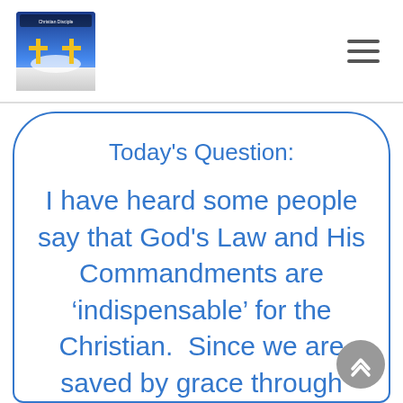[Figure (logo): Website logo with two crosses on a blue sky background, with small text above]
Today's Question:
I have heard some people say that God's Law and His Commandments are ‘indispensable’ for the Christian. Since we are saved by grace through